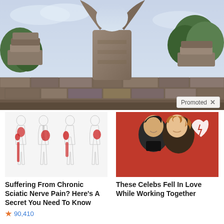[Figure (photo): Outdoor photo of large stone sculptures resembling a crescent/bull horns shape at what appears to be Coral Castle or similar megalithic site, with trees in background]
Promoted X
[Figure (photo): Medical illustration showing four human body silhouettes with red highlighted areas indicating sciatic nerve pain pathways along the lower back and leg]
Suffering From Chronic Sciatic Nerve Pain? Here's A Secret You Need To Know
90,410
[Figure (photo): Celebrity couple photo (Tom Cruise and Nicole Kidman) on red background with a broken heart graphic icon]
These Celebs Fell In Love While Working Together